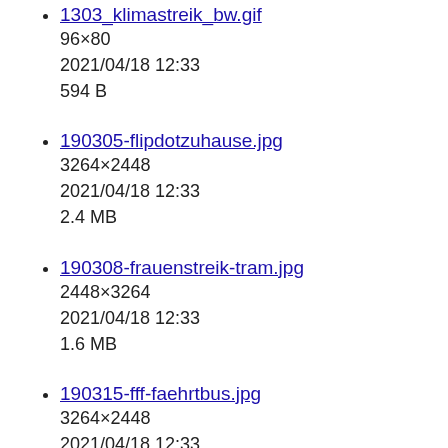1303_klimastreik_bw.gif
96×80
2021/04/18 12:33
594 B
190305-flipdotzuhause.jpg
3264×2448
2021/04/18 12:33
2.4 MB
190308-frauenstreik-tram.jpg
2448×3264
2021/04/18 12:33
1.6 MB
190315-fff-faehrtbus.jpg
3264×2448
2021/04/18 12:33
1.9 MB
190315-fff-heimmitlkw.jpg
3264×2448